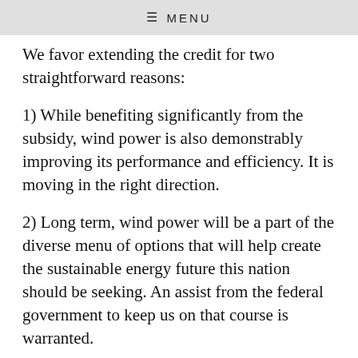≡ MENU
We favor extending the credit for two straightforward reasons:
1) While benefiting significantly from the subsidy, wind power is also demonstrably improving its performance and efficiency. It is moving in the right direction.
2) Long term, wind power will be a part of the diverse menu of options that will help create the sustainable energy future this nation should be seeking. An assist from the federal government to keep us on that course is warranted.